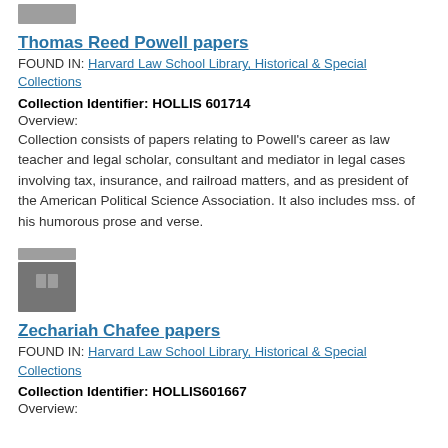[Figure (other): Gray archive box icon (top portion visible)]
Thomas Reed Powell papers
FOUND IN: Harvard Law School Library, Historical & Special Collections
Collection Identifier: HOLLIS 601714
Overview:
Collection consists of papers relating to Powell's career as law teacher and legal scholar, consultant and mediator in legal cases involving tax, insurance, and railroad matters, and as president of the American Political Science Association. It also includes mss. of his humorous prose and verse.
[Figure (other): Gray archive box icon]
Zechariah Chafee papers
FOUND IN: Harvard Law School Library, Historical & Special Collections
Collection Identifier: HOLLIS601667
Overview: